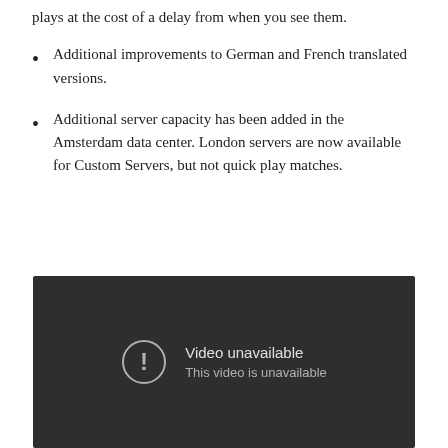plays at the cost of a delay from when you see them.
Additional improvements to German and French translated versions.
Additional server capacity has been added in the Amsterdam data center. London servers are now available for Custom Servers, but not quick play matches.
[Figure (screenshot): A dark-background video player showing 'Video unavailable' with an exclamation mark icon and subtext 'This video is unavailable'.]